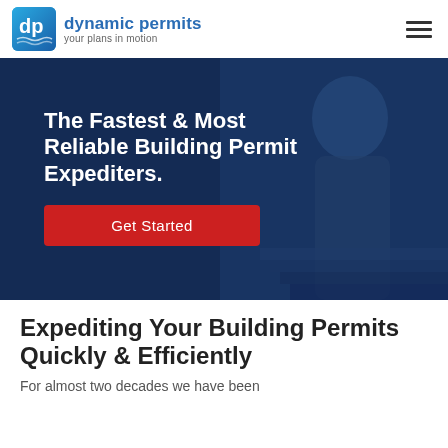[Figure (logo): Dynamic Permits logo — square teal/blue icon with 'dp' letters and waves, company name 'dynamic permits' in blue bold, tagline 'your plans in motion' in gray]
[Figure (photo): Hero banner with dark blue overlay showing a blurred person in background, white bold text 'The Fastest & Most Reliable Building Permit Expediters.' and a red 'Get Started' button]
Expediting Your Building Permits Quickly & Efficiently
For almost two decades we have been